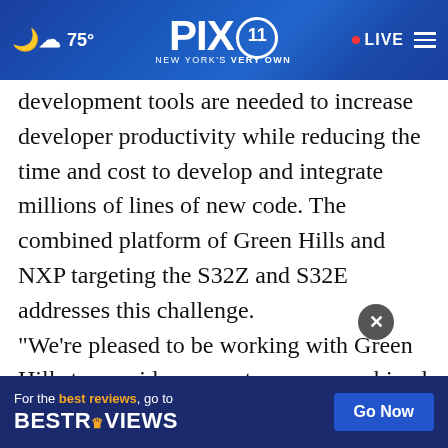75° PIX11 NEW YORK'S VERY OWN · LIVE
development tools are needed to increase developer productivity while reducing the time and cost to develop and integrate millions of lines of new code. The combined platform of Green Hills and NXP targeting the S32Z and S32E addresses this challenge.
"We're pleased to be working with Green Hills to provide our customers a combined solution to accelerate and consolidate safe, real-time appli[cations for the next-generation automotive] vehic[les, according to/supported by] rior
[Figure (advertisement): BestReviews ad banner: 'For the best reviews, go to BESTREVIEWS' with 'Go Now' button on dark blue background]